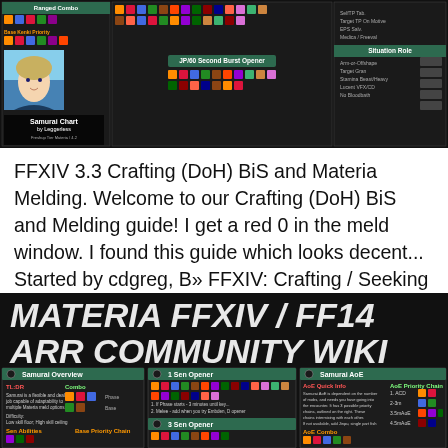[Figure (screenshot): Screenshot of a Final Fantasy XIV Samurai job guide/chart showing action icons, combo sequences, opener rotations, and a character portrait labeled 'Samurai Chart by Leggerless']
FFXIV 3.3 Crafting (DoH) BiS and Materia Melding. Welcome to our Crafting (DoH) BiS and Melding guide! I get a red 0 in the meld window. I found this guide which looks decent... Started by cdgreg, В» FFXIV: Crafting / Seeking Crafters; Powered by vBulletinв„ў Version 4.0.6
MATERIA FFXIV / FF14 ARR COMMUNITY WIKI AND GUIDE
[Figure (screenshot): Screenshot of FFXIV Samurai job guide wiki showing three panels: Samurai Overview, 1 Sen Opener, and Samurai AoE sections with game action icons and rotation guides]